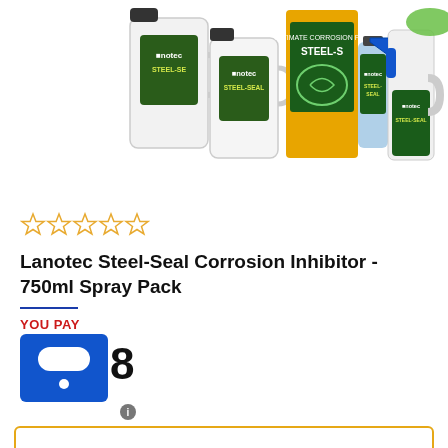[Figure (photo): Product photo showing multiple Lanotec Steel-Seal Corrosion Inhibitor containers: large white jugs, spray cans, a yellow bag, and a trigger spray bottle]
[Figure (other): Five empty star rating icons (0 out of 5 stars)]
Lanotec Steel-Seal Corrosion Inhibitor - 750ml Spray Pack
YOU PAY
8
[Figure (other): Blue square badge with white rounded rectangle and blue dot below it (payment/loyalty badge)]
Add to cart button area (yellow bordered box)